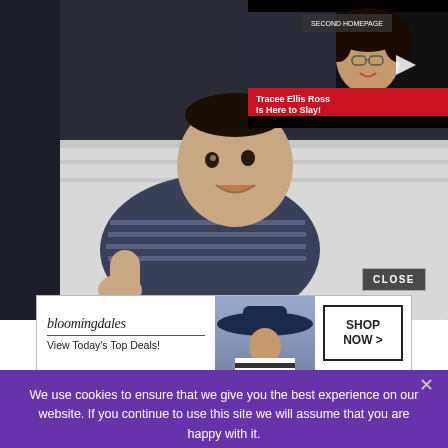[Figure (photo): Baby crawling on a white mattress/surface, wearing a blue striped outfit, photographed in a dark-toned room. Large background photo taking up top portion of page.]
[Figure (screenshot): Video thumbnail in top-right corner showing a woman with curly hair smiling, with a play button overlay and red label reading 'Tracee Ellis Ross Is Here to Slay!' with a logo at top.]
CLOSE
[Figure (screenshot): Bloomingdale's advertisement banner: logo with tagline 'View Today's Top Deals!', a model wearing a large hat, and a 'SHOP NOW >' call-to-action button.]
We use cookies to ensure that we give you the best experience on our website. If you continue to use this site we will assume that you are happy with it.
Ok
No
Privacy policy